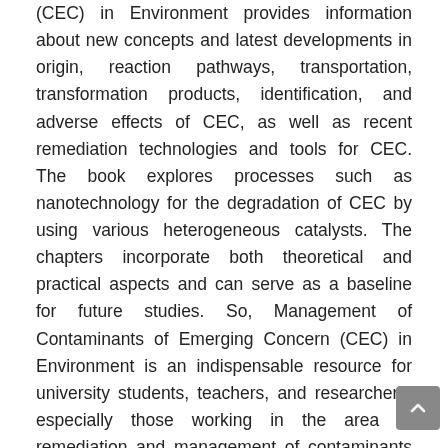(CEC) in Environment provides information about new concepts and latest developments in origin, reaction pathways, transportation, transformation products, identification, and adverse effects of CEC, as well as recent remediation technologies and tools for CEC. The book explores processes such as nanotechnology for the degradation of CEC by using various heterogeneous catalysts. The chapters incorporate both theoretical and practical aspects and can serve as a baseline for future studies. So, Management of Contaminants of Emerging Concern (CEC) in Environment is an indispensable resource for university students, teachers, and researchers, especially those working in the area of remediation and management of contaminants of emerging concern. Takes a holistic approach, focusing on the origin of contaminants, type of contaminants, remediation technologies, regulations and legal aspects Applies chemical, physical and biological processes for the treatment of emerging contaminants Written by a team of internationally reputed and rising researchers